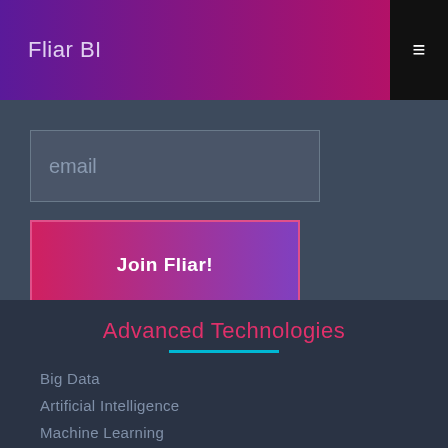Fliar BI
email
Join Fliar!
Advanced Technologies
Big Data
Artificial Intelligence
Machine Learning
Blockchain
Robotic Process Automation